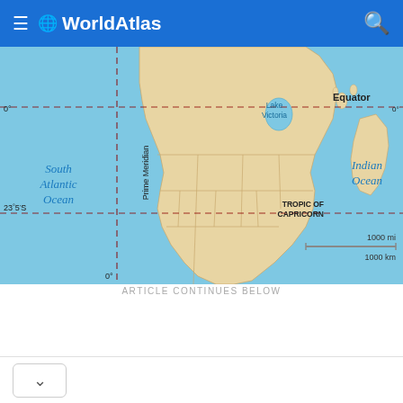WorldAtlas
[Figure (map): Map of southern Africa showing the Equator, Prime Meridian, Tropic of Capricorn, Lake Victoria, South Atlantic Ocean, Indian Ocean, and a scale bar of 1000 mi / 1000 km.]
ARTICLE CONTINUES BELOW